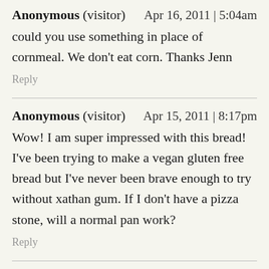Anonymous (visitor)    Apr 16, 2011 | 5:04am
could you use something in place of cornmeal. We don't eat corn. Thanks Jenn
Reply
Anonymous (visitor)    Apr 15, 2011 | 8:17pm
Wow! I am super impressed with this bread! I've been trying to make a vegan gluten free bread but I've never been brave enough to try without xathan gum. If I don't have a pizza stone, will a normal pan work?
Reply
Carrie (visitor)    Apr 15, 2011 | 7:17pm
YAY!!! I cannot WAIT to try this AL!!! Thank